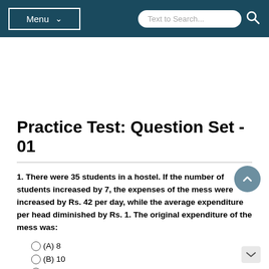Menu  Text to Search...
Practice Test: Question Set - 01
1. There were 35 students in a hostel. If the number of students increased by 7, the expenses of the mess were increased by Rs. 42 per day, while the average expenditure per head diminished by Rs. 1. The original expenditure of the mess was:
(A) 8
(B) 10
(C) 12